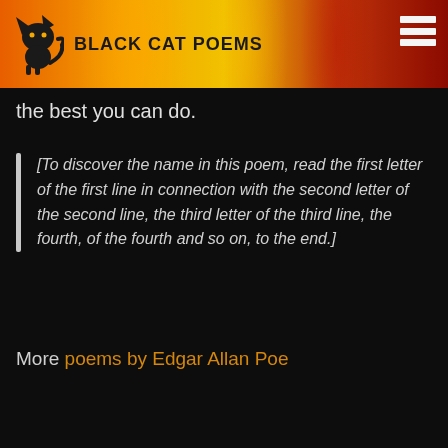BLACK CAT POEMS
the best you can do.
[To discover the name in this poem, read the first letter of the first line in connection with the second letter of the second line, the third letter of the third line, the fourth, of the fourth and so on, to the end.]
More poems by Edgar Allan Poe